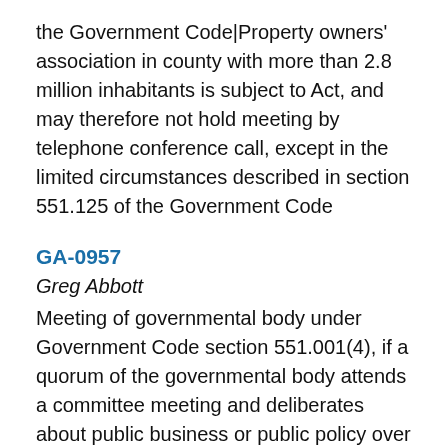the Government Code|Property owners’ association in county with more than 2.8 million inhabitants is subject to Act, and may therefore not hold meeting by telephone conference call, except in the limited circumstances described in section 551.125 of the Government Code
GA-0957
Greg Abbott
Meeting of governmental body under Government Code section 551.001(4), if a quorum of the governmental body attends a committee meeting and deliberates about public business or public policy over which the governmental body has supervision or control, it will constitute a\r\n\r\nNotice should be